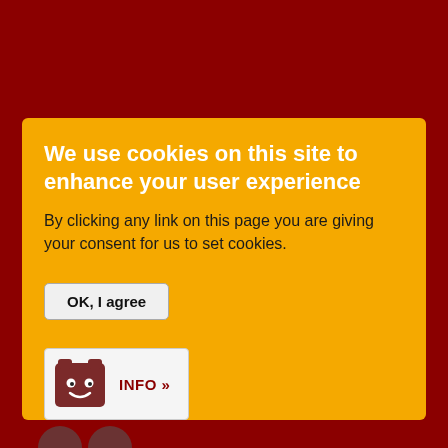We use cookies on this site to enhance your user experience
By clicking any link on this page you are giving your consent for us to set cookies.
[Figure (infographic): Cookie consent dialog with OK I agree button and INFO button with cookie mascot icon]